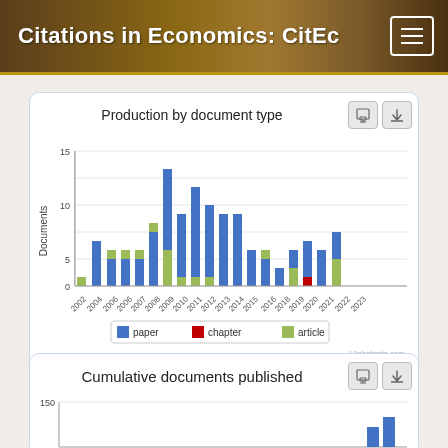Citations in Economics: CitEc
[Figure (stacked-bar-chart): Production by document type]
[Figure (bar-chart): Cumulative documents published]